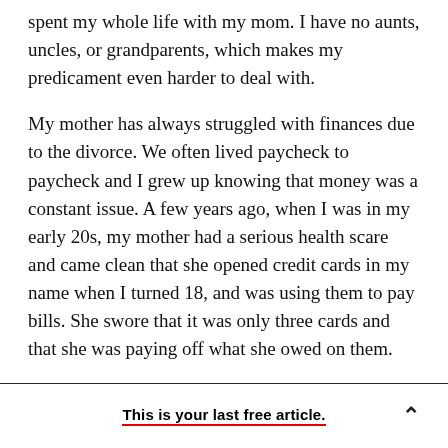spent my whole life with my mom. I have no aunts, uncles, or grandparents, which makes my predicament even harder to deal with.
My mother has always struggled with finances due to the divorce. We often lived paycheck to paycheck and I grew up knowing that money was a constant issue. A few years ago, when I was in my early 20s, my mother had a serious health scare and came clean that she opened credit cards in my name when I turned 18, and was using them to pay bills. She swore that it was only three cards and that she was paying off what she owed on them.
This is your last free article.